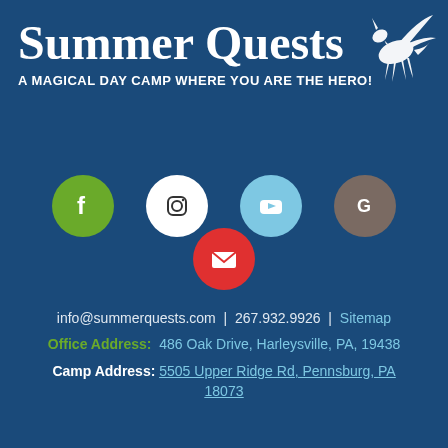Summer Quests
A MAGICAL DAY CAMP WHERE YOU ARE THE HERO!
[Figure (illustration): Five social media / contact icons: Facebook (green circle), Instagram (white circle), YouTube (light blue circle), Google (gray circle), and Email (red circle)]
info@summerquests.com  |  267.932.9926  |  Sitemap
Office Address: 486 Oak Drive, Harleysville, PA, 19438
Camp Address: 5505 Upper Ridge Rd, Pennsburg, PA 18073